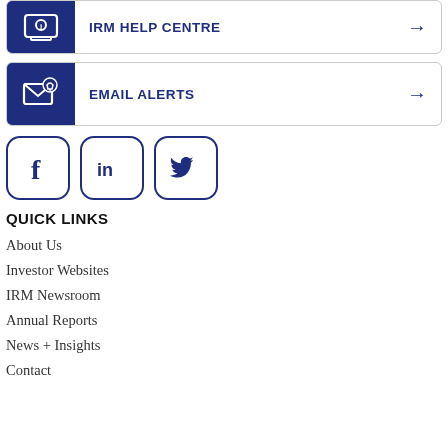[Figure (infographic): IRM Help Centre banner with dark blue icon block on left showing a laptop/info icon, bold label 'IRM HELP CENTRE' and arrow on right]
[Figure (infographic): Email Alerts banner with dark blue icon block on left showing an envelope/bell icon, bold label 'EMAIL ALERTS' and arrow on right]
[Figure (infographic): Social media icons row: Facebook (f), LinkedIn (in), Twitter (bird) — each in a rounded square outline in dark blue]
QUICK LINKS
About Us
Investor Websites
IRM Newsroom
Annual Reports
News + Insights
Contact